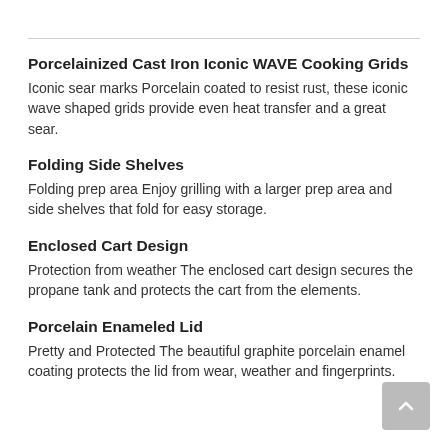Porcelainized Cast Iron Iconic WAVE Cooking Grids
Iconic sear marks Porcelain coated to resist rust, these iconic wave shaped grids provide even heat transfer and a great sear.
Folding Side Shelves
Folding prep area Enjoy grilling with a larger prep area and side shelves that fold for easy storage.
Enclosed Cart Design
Protection from weather The enclosed cart design secures the propane tank and protects the cart from the elements.
Porcelain Enameled Lid
Pretty and Protected The beautiful graphite porcelain enamel coating protects the lid from wear, weather and fingerprints.